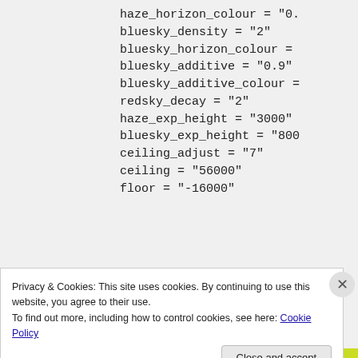haze_horizon_colour = "0."
bluesky_density = "2"
bluesky_horizon_colour =
bluesky_additive = "0.9"
bluesky_additive_colour =
redsky_decay = "2"
haze_exp_height = "3000"
bluesky_exp_height = "800
ceiling_adjust = "7"
ceiling = "56000"
floor = "-16000"
Privacy & Cookies: This site uses cookies. By continuing to use this website, you agree to their use.
To find out more, including how to control cookies, see here: Cookie Policy